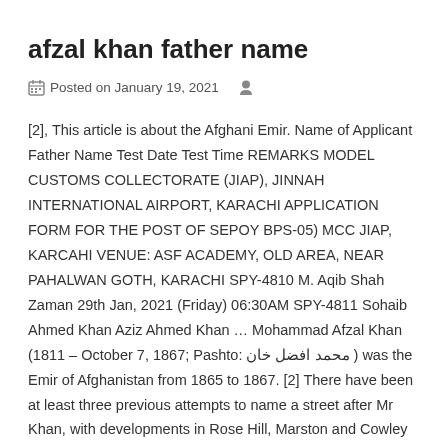afzal khan father name
Posted on January 19, 2021
[2], This article is about the Afghani Emir. Name of Applicant Father Name Test Date Test Time REMARKS MODEL CUSTOMS COLLECTORATE (JIAP), JINNAH INTERNATIONAL AIRPORT, KARACHI APPLICATION FORM FOR THE POST OF SEPOY BPS-05) MCC JIAP, KARCAHI VENUE: ASF ACADEMY, OLD AREA, NEAR PAHALWAN GOTH, KARACHI SPY-4810 M. Aqib Shah Zaman 29th Jan, 2021 (Friday) 06:30AM SPY-4811 Sohaib Ahmed Khan Aziz Ahmed Khan … Mohammad Afzal Khan (1811 – October 7, 1867; Pashto: محمد افضل خان ) was the Emir of Afghanistan from 1865 to 1867. [2] There have been at least three previous attempts to name a street after Mr Khan, with developments in Rose Hill, Marston and Cowley all put forward more than a decade ago. He has appeared in more than 150 movies. Name Father's Name Merit #